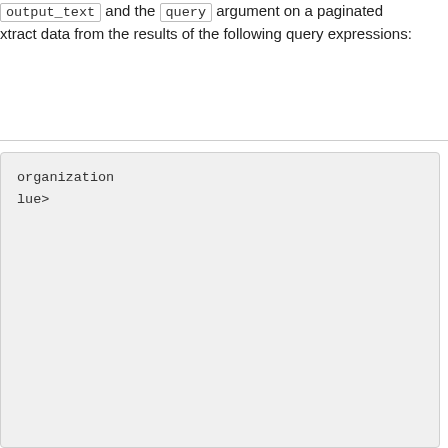output_text and the query argument on a paginated extract data from the results of the following query expressions:
organization
lue>